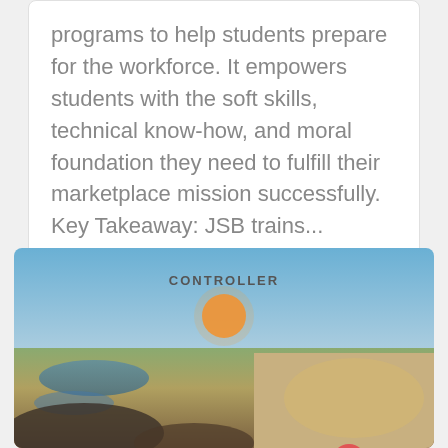programs to help students prepare for the workforce. It empowers students with the soft skills, technical know-how, and moral foundation they need to fulfill their marketplace mission successfully. Key Takeaway: JSB trains...
[Figure (screenshot): A landscape photo with desert/wetland scenery at dusk with a colorful sky. Overlaid with a dark modal dialog containing a name input field, email input field, and a Subscribe button with a red close button in the top right corner.]